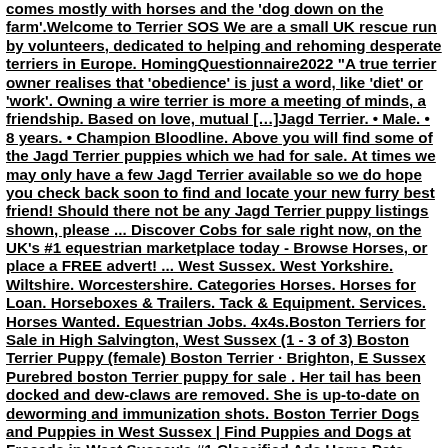comes mostly with horses and the 'dog down on the farm'.Welcome to Terrier SOS We are a small UK rescue run by volunteers, dedicated to helping and rehoming desperate terriers in Europe. HomingQuestionnaire2022 "A true terrier owner realises that 'obedience' is just a word, like 'diet' or 'work'. Owning a wire terrier is more a meeting of minds, a friendship. Based on love, mutual […]Jagd Terrier. • Male. • 8 years. • Champion Bloodline. Above you will find some of the Jagd Terrier puppies which we had for sale. At times we may only have a few Jagd Terrier available so we do hope you check back soon to find and locate your new furry best friend! Should there not be any Jagd Terrier puppy listings shown, please ... Discover Cobs for sale right now, on the UK's #1 equestrian marketplace today - Browse Horses, or place a FREE advert! ... West Sussex. West Yorkshire. Wiltshire. Worcestershire. Categories Horses. Horses for Loan. Horseboxes & Trailers. Tack & Equipment. Services. Horses Wanted. Equestrian Jobs. 4x4s.Boston Terriers for Sale in High Salvington, West Sussex (1 - 3 of 3) Boston Terrier Puppy (female) Boston Terrier · Brighton, E Sussex Purebred boston Terrier puppy for sale . Her tail has been docked and dew-claws are removed. She is up-to-date on deworming and immunization shots. Boston Terrier Dogs and Puppies in West Sussex | Find Puppies and Dogs at Freeads in West Sussex's #1 Classified Ads Home Pets Puppies & Dogs Boston Terriers